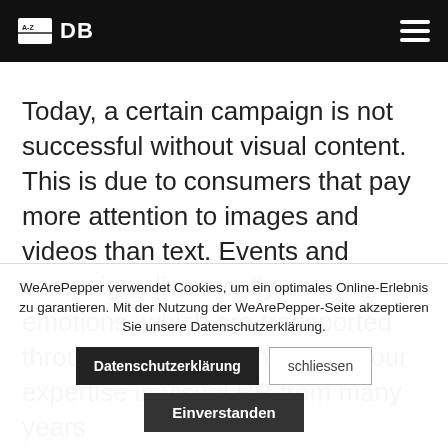A-Z DB
Today, a certain campaign is not successful without visual content. This is due to consumers that pay more attention to images and videos than text. Events and campaigns live mostly on emotions, which are transported through images.  Benefit from our expertise in visual PR from many years
WeArePepper verwendet Cookies, um ein optimales Online-Erlebnis zu garantieren. Mit der Nutzung der WeArePepper-Seite akzeptieren Sie unsere Datenschutzerklärung.  Datenschutzerklärung  schliessen  Einverstanden